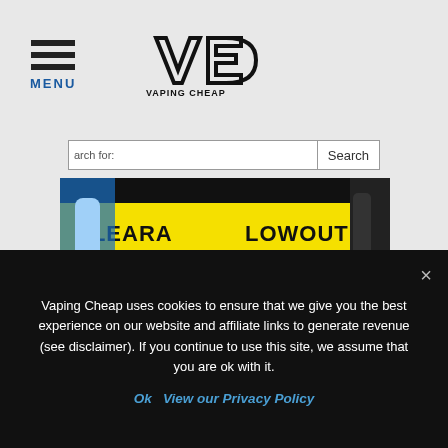MENU | VAPING CHEAP
[Figure (screenshot): Vaping Cheap website screenshot showing a clearance blowout banner with 40-75% off over 250 premium e-liquids, with a search bar overlay]
Vaping Cheap uses cookies to ensure that we give you the best experience on our website and affiliate links to generate revenue (see disclaimer). If you continue to use this site, we assume that you are ok with it.
Ok   View our Privacy Policy